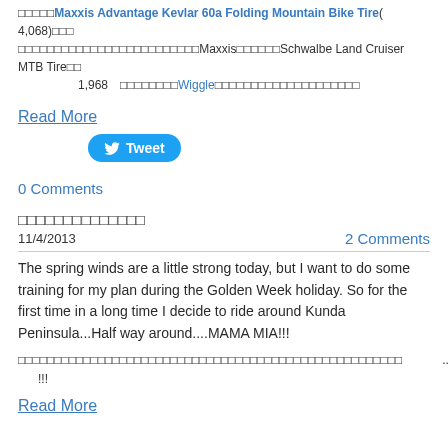□□□□□Maxxis Advantage Kevlar 60a Folding Mountain Bike Tire(　4,068)□□□□□□□□□□□□□□□□□□□□□□□□□Maxxis□□□□□□Schwalbe Land Cruiser MTB Tire□□ 1,968　□□□□□□□□Wiggle□□□□□□□□□□□□□□□□□□□□
Read More
[Figure (other): Tweet button with Twitter bird icon]
0 Comments
□□□□□□□□□□□□□□
11/4/2013
2 Comments
The spring winds are a little strong today, but I want to do some training for my plan during the Golden Week holiday. So for the first time in a long time I decide to ride around Kunda Peninsula...Half way around....MAMA MIA!!!
□□□□□□□□□□□□□□□□□□□□□□□□□□□□□□□□□□□□□□□□□□□□□□□□□□□□□　....　....!!!
Read More